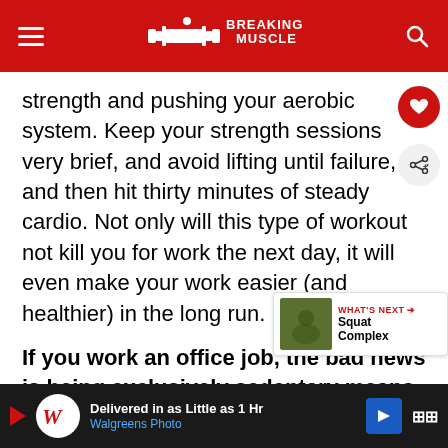Breaking Muscle
strength and pushing your aerobic system. Keep your strength sessions very brief, and avoid lifting until failure, and then hit thirty minutes of steady cardio. Not only will this type of workout not kill you for work the next day, it will even make your work easier (and healthier) in the long run.
If you work an office job, the bad news is being exclusively sedentary means you're at risk for poor health later on. The goo... you will have the energy and strength to exercise ha... be...
[Figure (screenshot): Walgreens Photo advertisement banner: Delivered in as Little as 1 Hr, Walgreens Photo]